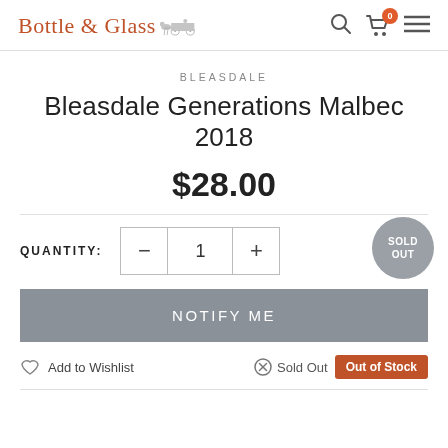Bottle & Glass
BLEASDALE
Bleasdale Generations Malbec 2018
$28.00
QUANTITY: 1
SOLD OUT
NOTIFY ME
Add to Wishlist
Sold Out  Out of Stock